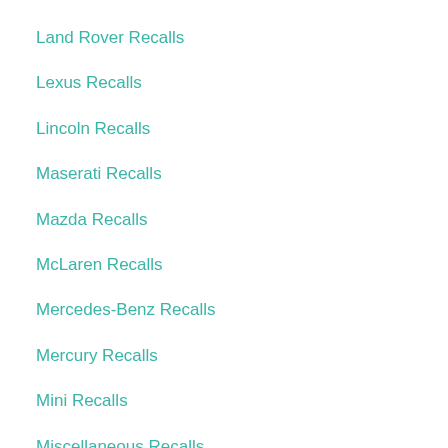Land Rover Recalls
Lexus Recalls
Lincoln Recalls
Maserati Recalls
Mazda Recalls
McLaren Recalls
Mercedes-Benz Recalls
Mercury Recalls
Mini Recalls
Miscellaneous Recalls
Mitsubishi Recalls